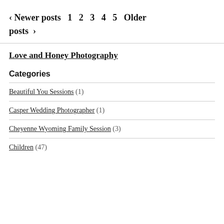‹ Newer posts  1  2  3  4  5  Older posts ›
Love and Honey Photography
Categories
Beautiful You Sessions (1)
Casper Wedding Photographer (1)
Cheyenne Wyoming Family Session (3)
Children (47)